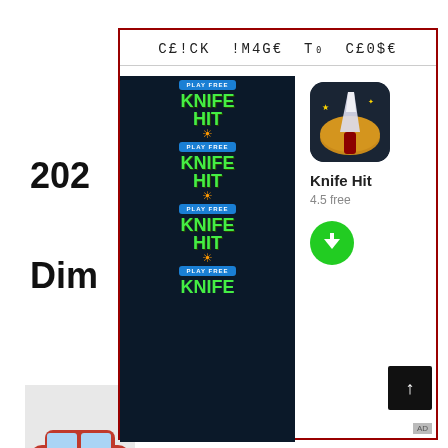[Figure (screenshot): Web page screenshot showing a modal overlay with 'CE!CK !M4GE To C£0$€' header in monospace font with red border, containing a Knife Hit mobile game advertisement banner (dark background with repeating KNIFE HIT logos and PLAY FREE buttons) and an app info panel showing the Knife Hit app icon, name, 4.5 free rating, and green download button. Background page shows partial text '202', 'Dim', a car image, and partial paragraph text about Nissan vehicles.]